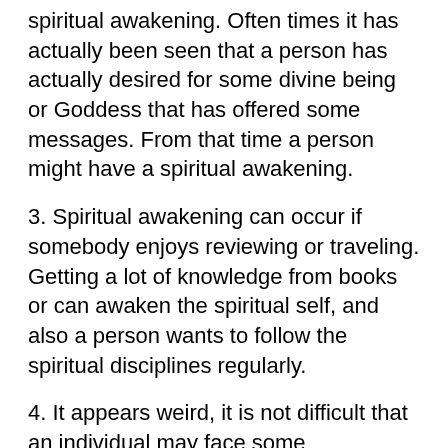spiritual awakening. Often times it has actually been seen that a person has actually desired for some divine being or Goddess that has offered some messages. From that time a person might have a spiritual awakening.
3. Spiritual awakening can occur if somebody enjoys reviewing or traveling. Getting a lot of knowledge from books or can awaken the spiritual self, and also a person wants to follow the spiritual disciplines regularly.
4. It appears weird, it is not difficult that an individual may face some paranormal cases in his life which may be enchanting or ghostly. Such sort of experience may cause the spiritual awakening of an individual.